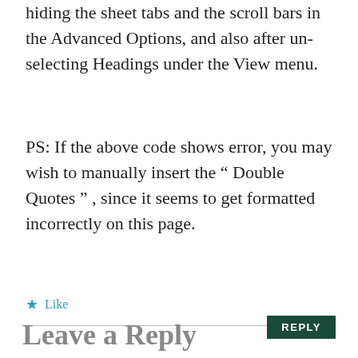hiding the sheet tabs and the scroll bars in the Advanced Options, and also after un-selecting Headings under the View menu.
PS: If the above code shows error, you may wish to manually insert the “ Double Quotes ” , since it seems to get formatted incorrectly on this page.
★ Like
REPLY
Leave a Reply